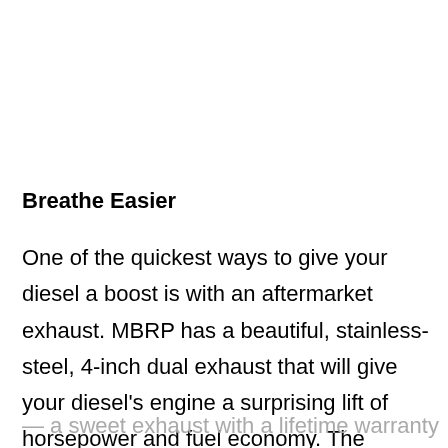Breathe Easier
One of the quickest ways to give your diesel a boost is with an aftermarket exhaust. MBRP has a beautiful, stainless-steel, 4-inch dual exhaust that will give your diesel's engine a surprising lift of horsepower and fuel economy. The package has everything you need and comes with a chrome tip
— a sweet exhaust with a lifetime warranty for